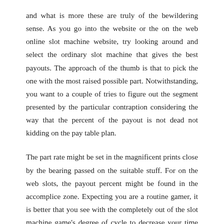and what is more these are truly of the bewildering sense. As you go into the website or the on the web online slot machine website, try looking around and select the ordinary slot machine that gives the best payouts. The approach of the thumb is that to pick the one with the most raised possible part. Notwithstanding, you want to a couple of tries to figure out the segment presented by the particular contraption considering the way that the percent of the payout is not dead not kidding on the pay table plan.
The part rate might be set in the magnificent prints close by the bearing passed on the suitable stuff. For on the web slots, the payout percent might be found in the accomplice zone. Expecting you are a routine gamer, it is better that you see with the completely out of the slot machine game's degree of cycle to decrease your time searching for besides examining it. One extra shows to consider are the types of progress what is all of the same addition to offers that online slot machine websites with